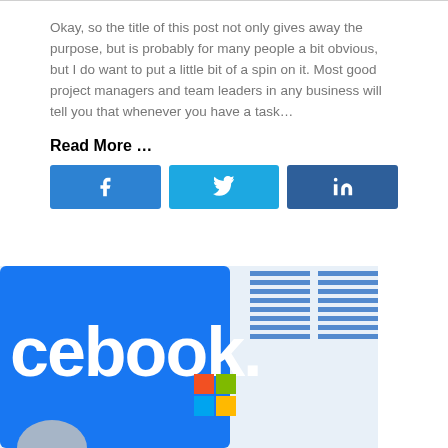Okay, so the title of this post not only gives away the purpose, but is probably for many people a bit obvious, but I do want to put a little bit of a spin on it. Most good project managers and team leaders in any business will tell you that whenever you have a task…
Read More …
[Figure (screenshot): Social share buttons: Facebook (blue), Twitter (light blue), LinkedIn (dark blue)]
[Figure (photo): Photo showing logos of Facebook, Microsoft, and IBM on tech devices]